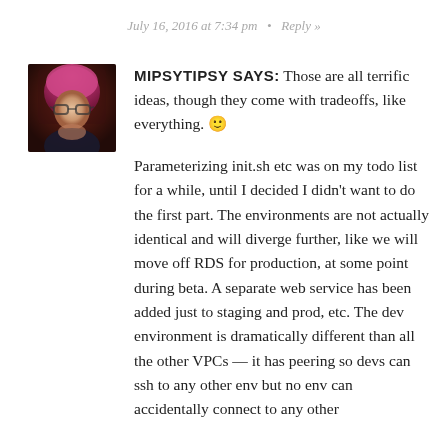July 16, 2016 at 7:34 pm  •  Reply »
[Figure (photo): Avatar photo of user mipsytipsy, showing a person with pink/red hair against a dark background]
MIPSYTIPSY SAYS: Those are all terrific ideas, though they come with tradeoffs, like everything. 🙂
Parameterizing init.sh etc was on my todo list for a while, until I decided I didn't want to do the first part. The environments are not actually identical and will diverge further, like we will move off RDS for production, at some point during beta. A separate web service has been added just to staging and prod, etc. The dev environment is dramatically different than all the other VPCs — it has peering so devs can ssh to any other env but no env can accidentally connect to any other